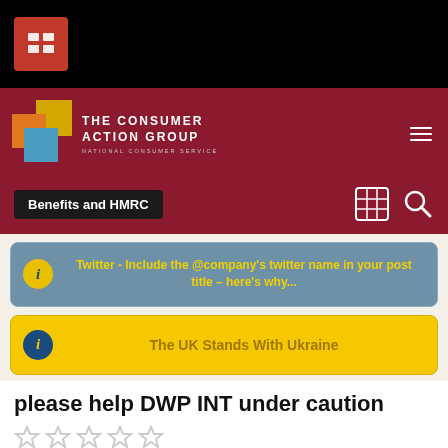[Figure (screenshot): Black top navigation bar with red icon button containing a grid/table symbol]
[Figure (logo): The Consumer Action Group logo with overlapping colored squares (gold, orange, blue) and text 'THE CONSUMER ACTION GROUP - NATIONAL CONSUMER SERVICE' on dark red background]
Benefits and HMRC
Twitter - Include the @company's twitter name in your post title – here's why...
The UK Stands With Ukraine
please help DWP INT under caution
By thinlpaesitiva